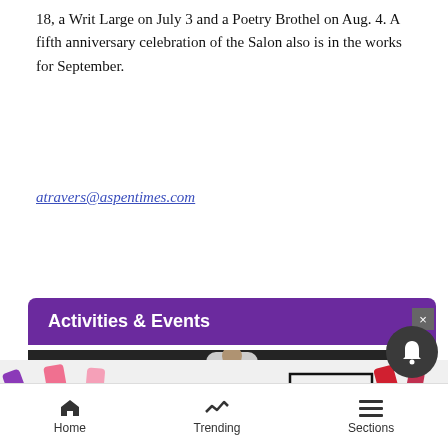18, a Writ Large on July 3 and a Poetry Brothel on Aug. 4. A fifth anniversary celebration of the Salon also is in the works for September.
atravers@aspentimes.com
Activities & Events
[Figure (photo): People gathered around a dining table with candles, food and drinks, viewed from above. A man in a white shirt stands at the head of the table.]
[Figure (photo): MAC cosmetics advertisement showing lipsticks in purple, pink, and red with text SHOP NOW]
Home   Trending   Sections